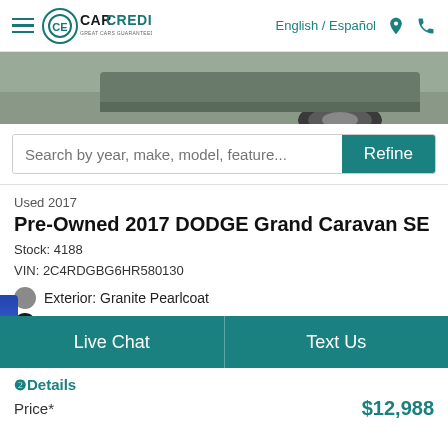CarCredit - Great Cars Guaranteed Credit | English / Español
[Figure (photo): Partial view of a vehicle (wheel and lower body visible) photographed from ground level on pavement]
Search by year, make, model, feature...
Used 2017
Pre-Owned 2017 DODGE Grand Caravan SE
Stock: 4188
VIN: 2C4RDGBG6HR580130
Exterior: Granite Pearlcoat
Interior: Black/Light Graystone
Location:
Car Credit East Tampa
3923 E. Hillsborough Ave.
Live Chat
Text Us
Details
Price*
$12,988